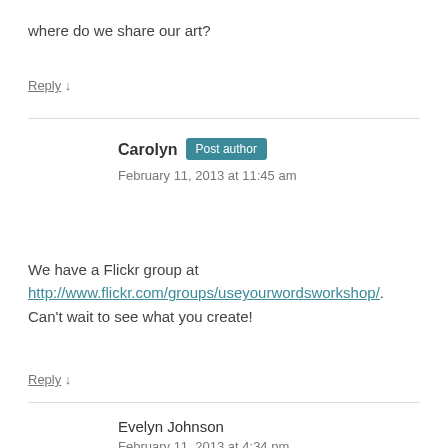where do we share our art?
Reply ↓
Carolyn  Post author
February 11, 2013 at 11:45 am
We have a Flickr group at http://www.flickr.com/groups/useyourwordsworkshop/. Can't wait to see what you create!
Reply ↓
Evelyn Johnson
February 11, 2013 at 4:34 pm